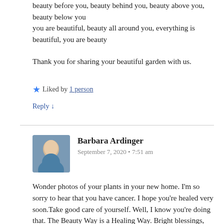beauty before you, beauty behind you, beauty above you, beauty below you
you are beautiful, beauty all around you, everything is beautiful, you are beauty
Thank you for sharing your beautiful garden with us.
★ Liked by 1 person
Reply ↓
Barbara Ardinger
September 7, 2020 • 7:51 am
Wonder photos of your plants in your new home. I'm so sorry to hear that you have cancer. I hope you're healed very soon.Take good care of yourself. Well, I know you're doing that. The Beauty Way is a Healing Way. Bright blessings, my friend.
★ Like
Reply ↓